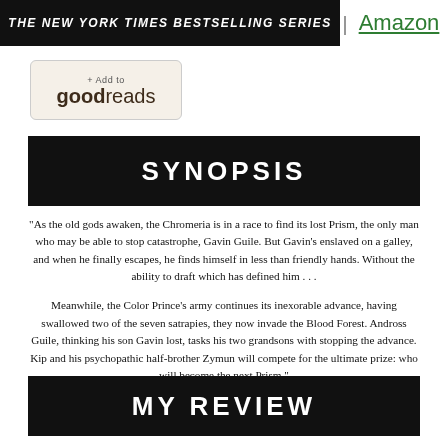THE NEW YORK TIMES BESTSELLING SERIES
Amazon
[Figure (logo): Add to Goodreads button]
SYNOPSIS
"As the old gods awaken, the Chromeria is in a race to find its lost Prism, the only man who may be able to stop catastrophe, Gavin Guile. But Gavin's enslaved on a galley, and when he finally escapes, he finds himself in less than friendly hands. Without the ability to draft which has defined him . . .
Meanwhile, the Color Prince's army continues its inexorable advance, having swallowed two of the seven satrapies, they now invade the Blood Forest. Andross Guile, thinking his son Gavin lost, tasks his two grandsons with stopping the advance. Kip and his psychopathic half-brother Zymun will compete for the ultimate prize: who will become the next Prism."
MY REVIEW
Alright y'all. This one is going to be short because we start verging on the territory of spoilers. A lot of plot